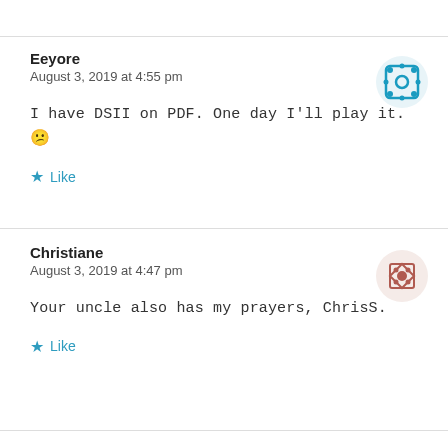Eeyore
August 3, 2019 at 4:55 pm
I have DSII on PDF. One day I'll play it. 😕
Like
Christiane
August 3, 2019 at 4:47 pm
Your uncle also has my prayers, ChrisS.
Like